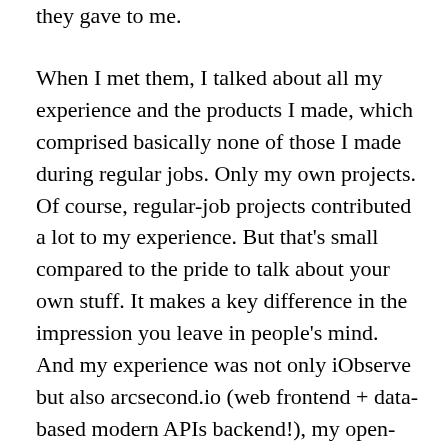they gave to me.
When I met them, I talked about all my experience and the products I made, which comprised basically none of those I made during regular jobs. Only my own projects. Of course, regular-job projects contributed a lot to my experience. But that's small compared to the pride to talk about your own stuff. It makes a key difference in the impression you leave in people's mind. And my experience was not only iObserve but also arcsecond.io (web frontend + data-based modern APIs backend!), my open-source plugins and SDKs, and even the old image-processing / scientific developments. And also something I forgot to mention: my 2 years of experience with the agile Scrum methodology at RTS in Geneva, in which it is truly implemented throughout the multimedia department. By the way, I am